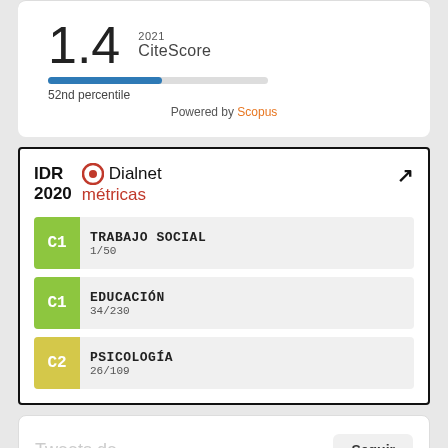[Figure (infographic): CiteScore 2021 widget showing score of 1.4 at 52nd percentile, powered by Scopus. Blue progress bar indicating position.]
[Figure (infographic): IDR 2020 Dialnet métricas widget showing journal rankings: C1 TRABAJO SOCIAL 1/50, C1 EDUCACIÓN 34/230, C2 PSICOLOGÍA 26/109]
Tweets de
Seguir